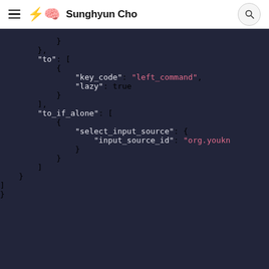Sunghyun Cho
[Figure (screenshot): Code block showing JSON configuration with keys 'to', 'to_if_alone', containing key_code, lazy, select_input_source, input_source_id fields on a dark background.]